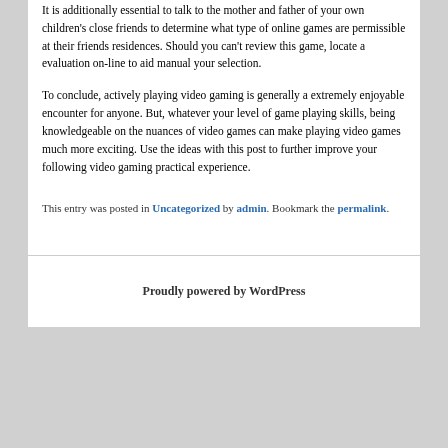It is additionally essential to talk to the mother and father of your own children's close friends to determine what type of online games are permissible at their friends residences. Should you can't review this game, locate a evaluation on-line to aid manual your selection.
To conclude, actively playing video gaming is generally a extremely enjoyable encounter for anyone. But, whatever your level of game playing skills, being knowledgeable on the nuances of video games can make playing video games much more exciting. Use the ideas with this post to further improve your following video gaming practical experience.
This entry was posted in Uncategorized by admin. Bookmark the permalink.
Proudly powered by WordPress